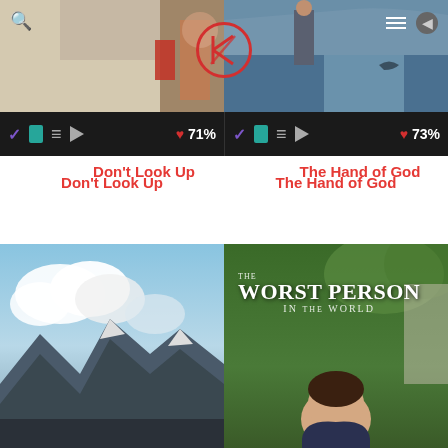[Figure (screenshot): App screenshot showing movie cards. Top row: 'Don't Look Up' (left) with cream background partial image and search icon, and a coastal/water scene (right) with navigation icons including hamburger menu and user icon, plus a red circular Criticker logo centered at top. Action bar below each shows checkmark, book, list, play icons and heart percentage (71% and 73%). Movie titles 'Don't Look Up' and 'The Hand of God' in red. Bottom row: mountain/sky landscape (left) and 'The Worst Person in the World' movie poster (right).]
Don't Look Up
The Hand of God